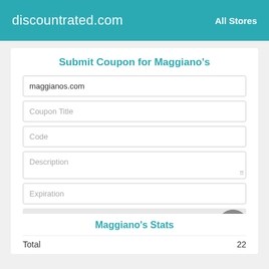discountrated.com   All Stores
Submit Coupon for Maggiano's
maggianos.com
Coupon Title
Code
Description
Expiration
Submit
Maggiano's Stats
Total   22